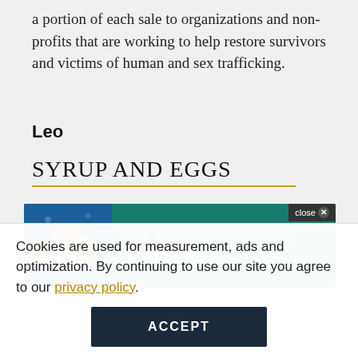a portion of each sale to organizations and non-profits that are working to help restore survivors and victims of human and sex trafficking.
Leo
SYRUP AND EGGS
[Figure (screenshot): Advertisement banner for the Tennessee Aquarium featuring a clownfish image on the left and a teal/green panel on the right with text 'Visit the Tennessee Aquarium' and 'View Details ›'. A close button appears in the top-right corner.]
Cookies are used for measurement, ads and optimization. By continuing to use our site you agree to our privacy policy.
ACCEPT